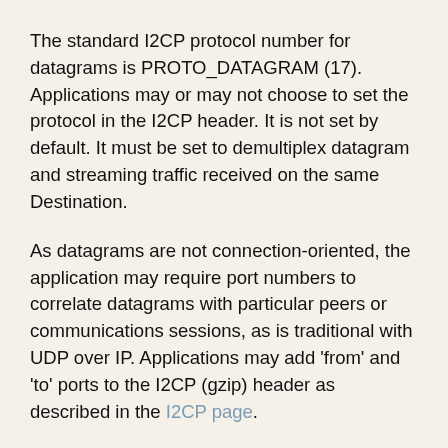The standard I2CP protocol number for datagrams is PROTO_DATAGRAM (17). Applications may or may not choose to set the protocol in the I2CP header. It is not set by default. It must be set to demultiplex datagram and streaming traffic received on the same Destination.
As datagrams are not connection-oriented, the application may require port numbers to correlate datagrams with particular peers or communications sessions, as is traditional with UDP over IP. Applications may add 'from' and 'to' ports to the I2CP (gzip) header as described in the I2CP page.
There is no method within the datagram API to specify whether it is non-repliable (raw) or repliable. The application should be designed to expect the appropriate type. The I2CP protocol number or port should be used by the application to indicate